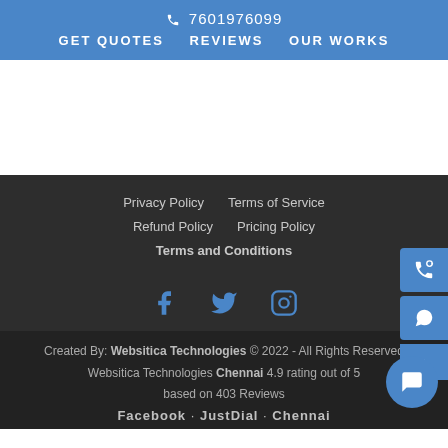☎ 7601976099   GET QUOTES   REVIEWS   OUR WORKS
Privacy Policy   Terms of Service   Refund Policy   Pricing Policy   Terms and Conditions
[Figure (infographic): Social media icons: Facebook, Twitter, Instagram]
Created By: Websitica Technologies © 2022 - All Rights Reserved. Websitica Technologies Chennai 4.9 rating out of 5 based on 403 Reviews. Facebook · JustDial · Chennai